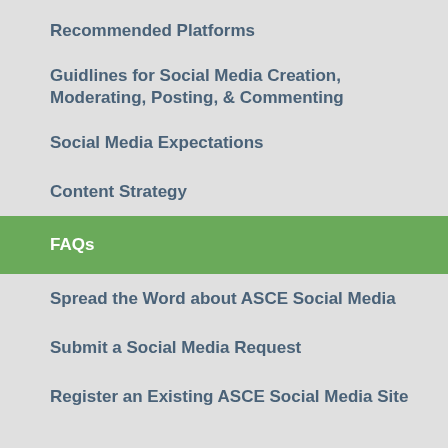Recommended Platforms
Guidlines for Social Media Creation, Moderating, Posting, & Commenting
Social Media Expectations
Content Strategy
FAQs
Spread the Word about ASCE Social Media
Submit a Social Media Request
Register an Existing ASCE Social Media Site